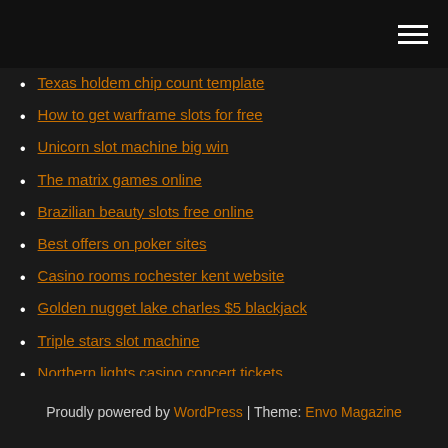Navigation menu header bar
Texas holdem chip count template
How to get warframe slots for free
Unicorn slot machine big win
The matrix games online
Brazilian beauty slots free online
Best offers on poker sites
Casino rooms rochester kent website
Golden nugget lake charles $5 blackjack
Triple stars slot machine
Northern lights casino concert tickets
Prism casino no deposit bonus code
Proudly powered by WordPress | Theme: Envo Magazine